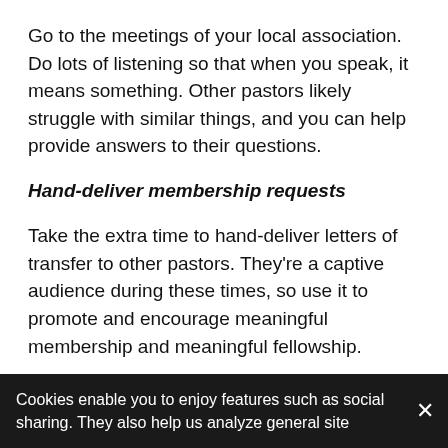Go to the meetings of your local association. Do lots of listening so that when you speak, it means something. Other pastors likely struggle with similar things, and you can help provide answers to their questions.
Hand-deliver membership requests
Take the extra time to hand-deliver letters of transfer to other pastors. They’re a captive audience during these times, so use it to promote and encourage meaningful membership and meaningful fellowship.
4. Begin praying for thick skin.
Working prayerfully as a pastor in a small rural area means... easy to deal with, but you can help... hurt you
Cookies enable you to enjoy features such as social sharing. They also help us analyze general site